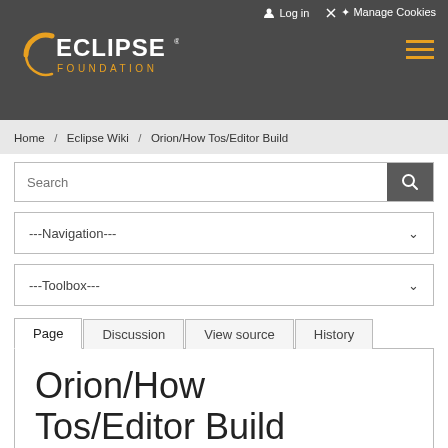Log in   Manage Cookies
[Figure (logo): Eclipse Foundation logo with orange arc and white ECLIPSE FOUNDATION text on dark background]
Home / Eclipse Wiki / Orion/How Tos/Editor Build
Search
---Navigation---
---Toolbox---
Page   Discussion   View source   History
Orion/How Tos/Editor Build